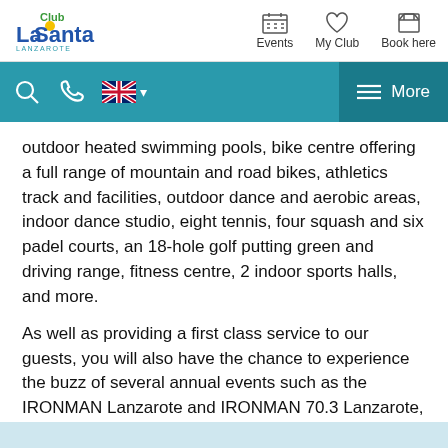[Figure (logo): Club La Santa Lanzarote logo with yellow circle and blue/green text]
Events   My Club   Book here
[Figure (screenshot): Teal navigation bar with search icon, phone icon, UK flag language selector, and More menu button]
outdoor heated swimming pools, bike centre offering a full range of mountain and road bikes, athletics track and facilities, outdoor dance and aerobic areas, indoor dance studio, eight tennis, four squash and six padel courts, an 18-hole golf putting green and driving range, fitness centre, 2 indoor sports halls, and more.
As well as providing a first class service to our guests, you will also have the chance to experience the buzz of several annual events such as the IRONMAN Lanzarote and IRONMAN 70.3 Lanzarote, 4 Stage Mountain Bike Race, Volcano Triathlon, International Running Week, and more